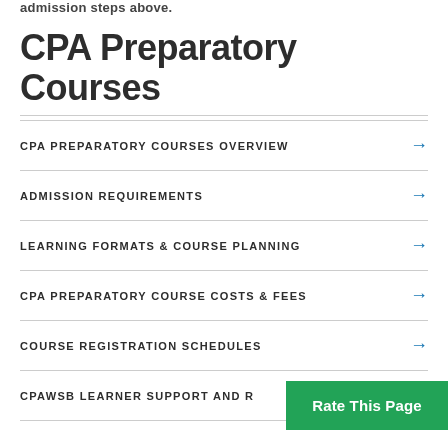admission steps above.
CPA Preparatory Courses
CPA PREPARATORY COURSES OVERVIEW
ADMISSION REQUIREMENTS
LEARNING FORMATS & COURSE PLANNING
CPA PREPARATORY COURSE COSTS & FEES
COURSE REGISTRATION SCHEDULES
CPAWSB LEARNER SUPPORT AND R…
Rate This Page